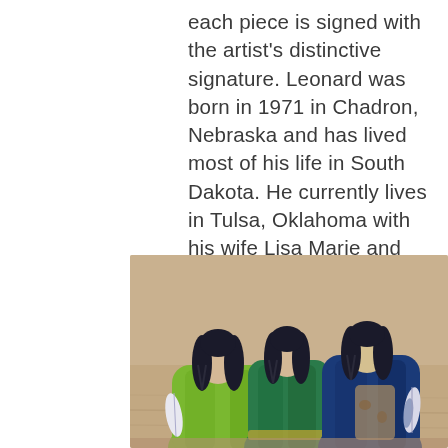each piece is signed with the artist's distinctive signature. Leonard was born in 1971 in Chadron, Nebraska and has lived most of his life in South Dakota. He currently lives in Tulsa, Oklahoma with his wife Lisa Marie and their three children and two grandchildren.
[Figure (photo): Three painted wooden figurines resembling Native American figures viewed from behind, dressed in colorful robes (green, teal/green, blue), with braided black hair, standing on a wooden surface.]